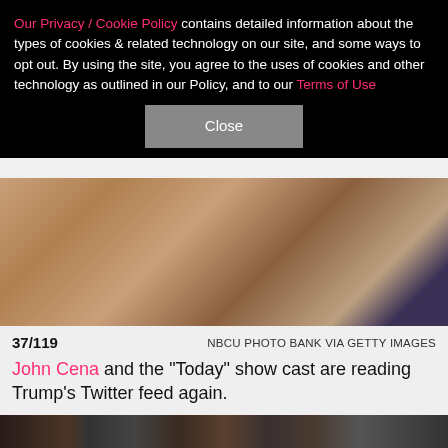Our Privacy / Cookie Policy contains detailed information about the types of cookies & related technology on our site, and some ways to opt out. By using the site, you agree to the uses of cookies and other technology as outlined in our Policy, and to our Terms of Use
[Figure (photo): Photo showing legs/feet of people standing, appears to be on a TV set or studio with bar stools visible]
37/119  NBCU PHOTO BANK VIA GETTY IMAGES
John Cena and the "Today" show cast are reading Trump's Twitter feed again.
[Figure (photo): Photo showing people at what appears to be an awards show or event, looking at something with surprised/shocked expressions]